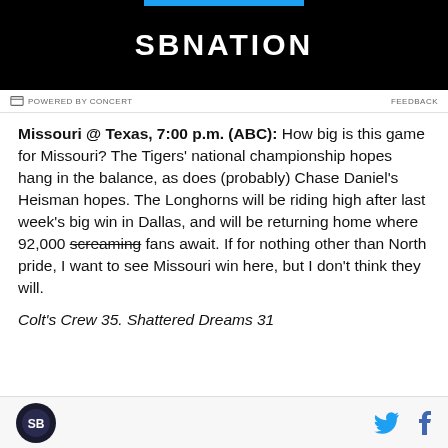[Figure (logo): SBNation advertisement banner with black background and SBNation logo text in white]
POWERED BY CONCERT   FEEDBACK
Missouri @ Texas, 7:00 p.m. (ABC): How big is this game for Missouri? The Tigers' national championship hopes hang in the balance, as does (probably) Chase Daniel's Heisman hopes. The Longhorns will be riding high after last week's big win in Dallas, and will be returning home where 92,000 screaming fans await. If for nothing other than North pride, I want to see Missouri win here, but I don't think they will.
Colt's Crew 35. Shattered Dreams 31
SBNation footer with logo, Twitter and Facebook icons